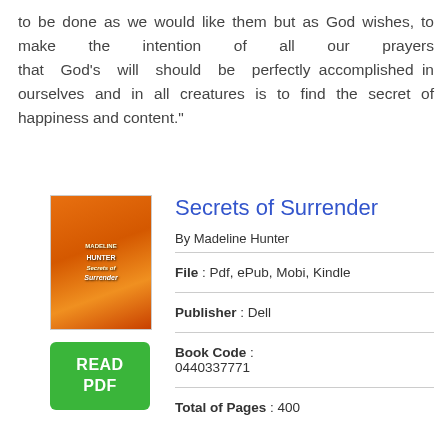to be done as we would like them but as God wishes, to make the intention of all our prayers that God's will should be perfectly accomplished in ourselves and in all creatures is to find the secret of happiness and content."
Secrets of Surrender
By Madeline Hunter
File : Pdf, ePub, Mobi, Kindle
Publisher : Dell
Book Code : 0440337771
Total of Pages : 400
[Figure (illustration): Book cover of Secrets of Surrender showing an orange/red romantic novel cover with author name Madeline Hunter]
[Figure (other): Green button with text READ PDF]